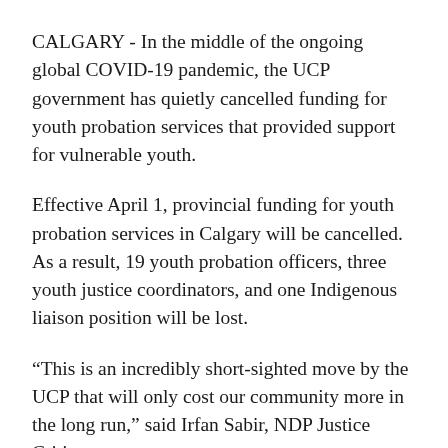CALGARY - In the middle of the ongoing global COVID-19 pandemic, the UCP government has quietly cancelled funding for youth probation services that provided support for vulnerable youth.
Effective April 1, provincial funding for youth probation services in Calgary will be cancelled. As a result, 19 youth probation officers, three youth justice coordinators, and one Indigenous liaison position will be lost.
“This is an incredibly short-sighted move by the UCP that will only cost our community more in the long run,” said Irfan Sabir, NDP Justice Critic.